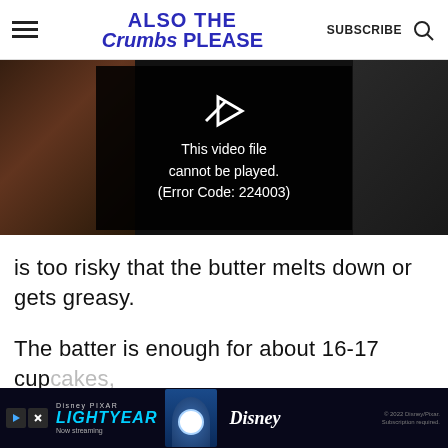ALSO THE Crumbs PLEASE — SUBSCRIBE
[Figure (screenshot): Video player showing error message: This video file cannot be played. (Error Code: 224003)]
is too risky that the butter melts down or gets greasy.
The batter is enough for about 16-17 cupcakes, si…
[Figure (screenshot): Advertisement banner for Disney Pixar Lightyear, Now streaming on Disney+]